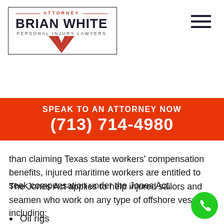[Figure (logo): Attorney Brian White Personal Injury Lawyers logo with W emblem inside a rectangular border]
[Figure (other): Hamburger menu icon (three horizontal dark lines)]
SPEAK TO AN ATTORNEY NOW
(713) 714-4980
than claiming Texas state workers' compensation benefits, injured maritime workers are entitled to seek compensation under the Jones Act.
The Jones Act applies to help injured sailors and seamen who work on any type of offshore vessel, including:
Oil rigs
[Figure (other): Green circular phone/call button in lower right corner]